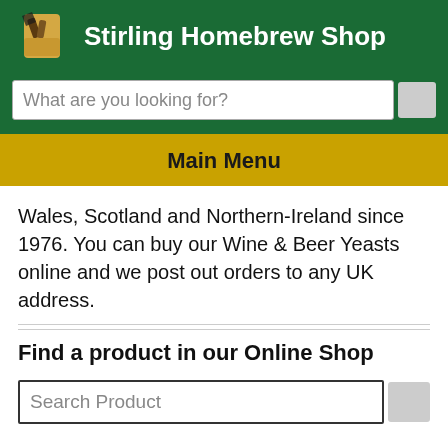Stirling Homebrew Shop
What are you looking for?
Main Menu
Wales, Scotland and Northern-Ireland since 1976. You can buy our Wine & Beer Yeasts online and we post out orders to any UK address.
Find a product in our Online Shop
Search Product